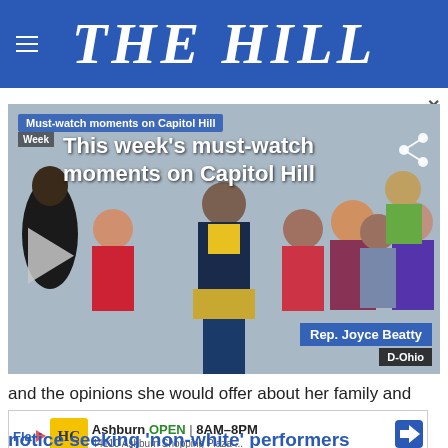THE HILL
[Figure (screenshot): Video thumbnail showing Rep. Joyce Beatty at a podium during a Capitol Hill press conference, with overlay text: 'This week's must-watch moments on Capitol Hill'. Blue label bar reads 'Must-watch moments on Capitol Hill'. Name caption: Rep. Joyce Beatty, D-Ohio.]
and the opinions she would offer about her family and personal views on politics and culture.
[Figure (screenshot): Advertisement banner: Ashburn OPEN 8AM-8PM, 44110 Ashburn Shopping Plaza ...]
notice seeking 'non-white' performers